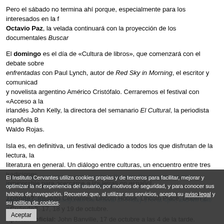Pero el sábado no termina ahí porque, especialmente para los interesados en la f... Octavio Paz, la velada continuará con la proyección de los documentales Buscar...
El domingo es el día de «Cultura de libros», que comenzará con el debate sobre ... enfrentadas con Paul Lynch, autor de Red Sky in Morning, el escritor y comunicad... y novelista argentino Américo Cristófalo. Cerraremos el festival con «Acceso a la ... irlandés John Kelly, la directora del semanario El Cultural, la periodista española B... Waldo Rojas.
Isla es, en definitiva, un festival dedicado a todos los que disfrutan de la lectura, la... literatura en general. Un diálogo entre culturas, un encuentro entre tres tradiciones... inmejorable para acercarse a las letras en español.
¿Dónde?: Instituto Cervantes, Lincoln House, Lincoln Place, Dublin 2. ¿Cuándo?: 17, 18 y 19 de octubre. Apertura oficial: John Banville, 17 de octubre a las 4 de la tarde. Entrada libre. Traducción simultánea en inglés y español.
Texto: Miriam Abuin (prensa) prendub@cervantes.es
El Instituto Cervantes utiliza cookies propias y de terceros para facilitar, mejorar y optimizar la experiencia del usuario, por motivos de seguridad, y para conocer sus hábitos de navegación. Recuerde que, al utilizar sus servicios, acepta su aviso legal y su política de cookies.